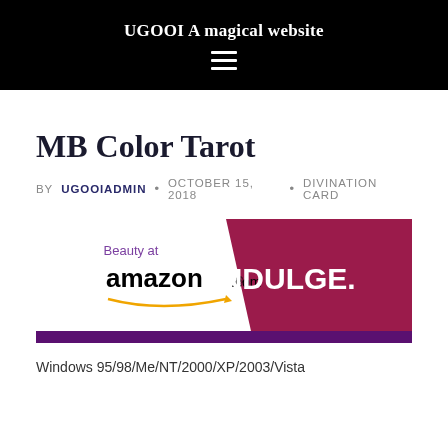UGOOI A magical website
MB Color Tarot
BY UGOOIADMIN • OCTOBER 15, 2018 • DIVINATION CARD
[Figure (screenshot): Amazon.com advertisement banner with 'Beauty at amazon.com' on white left side and 'INDULGE.' text on dark red/maroon right side, with purple bottom bar]
Windows 95/98/Me/NT/2000/XP/2003/Vista